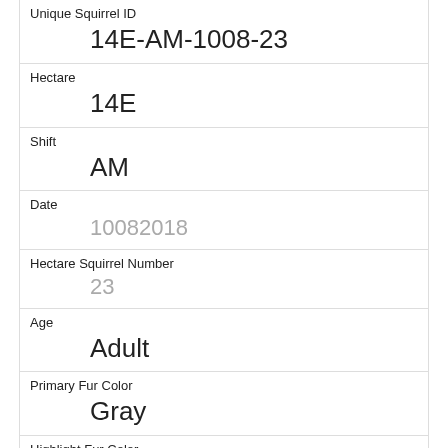| Unique Squirrel ID | 14E-AM-1008-23 |
| Hectare | 14E |
| Shift | AM |
| Date | 10082018 |
| Hectare Squirrel Number | 23 |
| Age | Adult |
| Primary Fur Color | Gray |
| Highlight Fur Color |  |
| Combination of Primary and Highlight Color | Gray+ |
| Color notes |  |